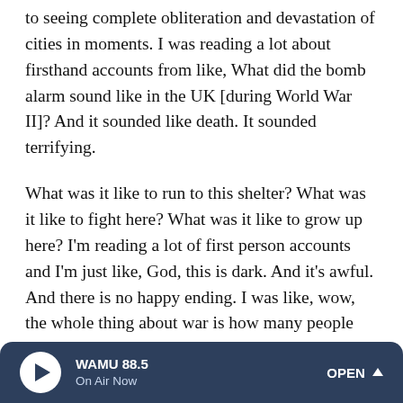to seeing complete obliteration and devastation of cities in moments. I was reading a lot about firsthand accounts from like, What did the bomb alarm sound like in the UK [during World War II]? And it sounded like death. It sounded terrifying.
What was it like to run to this shelter? What was it like to fight here? What was it like to grow up here? I'm reading a lot of first person accounts and I'm just like, God, this is dark. And it's awful. And there is no happy ending. I was like, wow, the whole thing about war is how many people can I kill? Who can kill the most people the fastest? That's what war is. That's literally the game. And Zélie and Amari have to learn this lesson, but they're also going against
WAMU 88.5 On Air Now OPEN